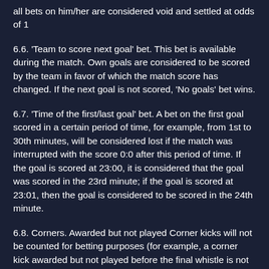all bets on him/her are considered void and settled at odds of 1
6.6. 'Team to score next goal' bet. This bet is available during the match. Own goals are considered to be scored by the team in favor of which the match score has changed. If the next goal is not scored, 'No goals' bet wins.
6.7. 'Time of the first/last goal' bet. A bet on the first goal scored in a certain period of time, for example, from 1st to 30th minutes, will be considered lost if the match was interrupted with the score 0:0 after this period of time. If the goal is scored at 23:00, it is considered that the goal was scored in the 23rd minute; if the goal is scored at 23:01, then the goal is considered to be scored in the 24th minute.
6.8. Corners. Awarded but not played Corner kicks will not be counted for betting purposes (for example, a corner kick awarded but not played before the final whistle is not counted). If the referee does not count the corner kick and reappoints it, it will be counted for betting purposes only once, unless otherwise indicated in the ticket and/or the line.